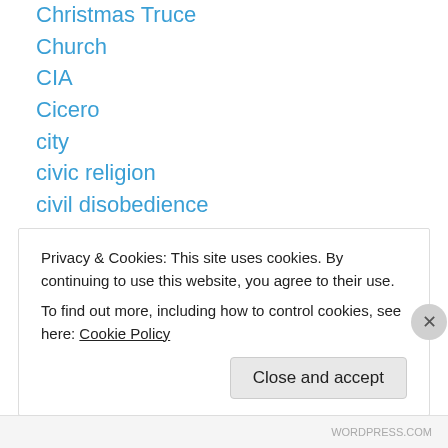Christmas Truce
Church
CIA
Cicero
city
civic religion
civil disobedience
civil war
civilization
Cleopatra
cliches
CNN
college
Colman Collin
Privacy & Cookies: This site uses cookies. By continuing to use this website, you agree to their use.
To find out more, including how to control cookies, see here: Cookie Policy
Close and accept
WORDPRESS.COM